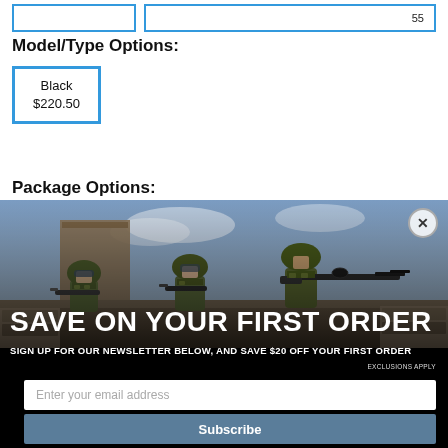Model/Type Options:
Black
$220.50
Package Options:
[Figure (photo): Military soldiers in camouflage gear aiming rifles, used as background for a promotional newsletter signup overlay modal]
SAVE ON YOUR FIRST ORDER
SIGN UP FOR OUR NEWSLETTER BELOW, AND SAVE $20 OFF YOUR FIRST ORDER
EXCLUSIONS APPLY
Enter your email address
Subscribe